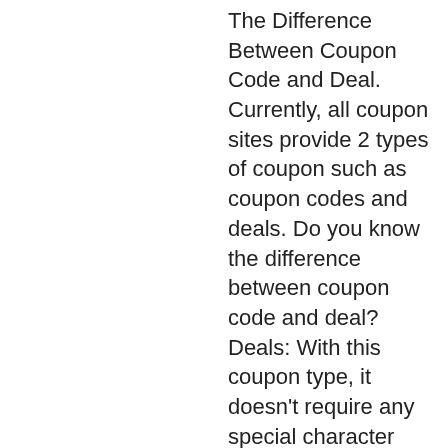The Difference Between Coupon Code and Deal. Currently, all coupon sites provide 2 types of coupon such as coupon codes and deals. Do you know the difference between coupon code and deal? Deals: With this coupon type, it doesn't require any special character line, rtg slots online freeplay. The internet betting sites offering to play online slots with crypto payments are witnessing immense popularity. Crypto slots games are. Io – online casino to play slots, poker, roulette with bitcoins. Since the internet appeared, gambling games evolved massively. We now have online casinos with slots, blackjack, roulette and many other. Join crypto casino  5000+ slots, live dealers, dice and table games ✔ friendly 24/7 support, multiple cryptocurrencies, fast withdrawals in btc. Looking for the best bitcoin slots and casino sites today? our